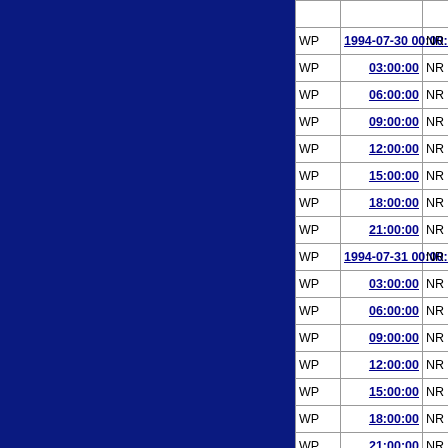|  | Date/Time |  | north |
| --- | --- | --- | --- |
| WP | 1994-07-30 00:00:00 | NR | 12.0 |
| WP | 03:00:00 | NR | 12.1 |
| WP | 06:00:00 | NR | 12.3 |
| WP | 09:00:00 | NR | 12.4 |
| WP | 12:00:00 | NR | 12.6 |
| WP | 15:00:00 | NR | 12.7 |
| WP | 18:00:00 | NR | 12.8 |
| WP | 21:00:00 | NR | 12.9 |
| WP | 1994-07-31 00:00:00 | NR | 13.0 |
| WP | 03:00:00 | NR | 13.1 |
| WP | 06:00:00 | NR | 13.2 |
| WP | 09:00:00 | NR | 13.2 |
| WP | 12:00:00 | NR | 13.4 |
| WP | 15:00:00 | NR | 13.5 |
| WP | 18:00:00 | NR | 13.7 |
| WP | 21:00:00 | NR | 13.8 |
| WP | 1994-08-01 00:00:00 | NR | 14.0 |
| WP | 03:00:00 | NR | 14.1 |
| WP | 06:00:00 | TS | 14.5 |